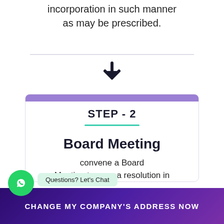incorporation in such manner as may be prescribed.
STEP - 2
Board Meeting
convene a Board Meeting to pass a resolution in
[Figure (other): WhatsApp chat button with 'Questions? Let's Chat' bubble]
CHANGE MY COMPANY'S ADDRESS NOW